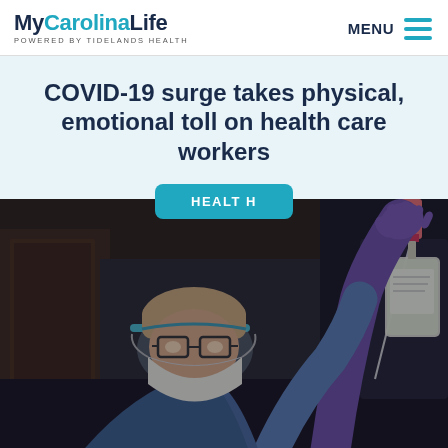MyCarolinaLife POWERED BY TIDELANDS HEALTH | MENU
COVID-19 surge takes physical, emotional toll on health care workers
HEALTH
[Figure (photo): A nurse wearing PPE including mask, face shield, and gloves reaches up to adjust an IV bag in a hospital room with medical equipment visible in the background.]